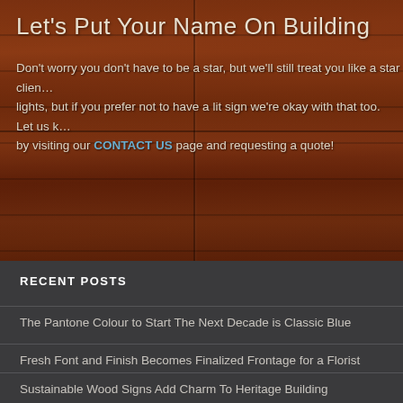Let's Put Your Name On Building
Don't worry you don't have to be a star, but we'll still treat you like a star client. Our building signs typically include lights, but if you prefer not to have a lit sign we're okay with that too. Let us know by visiting our CONTACT US page and requesting a quote!
RECENT POSTS
The Pantone Colour to Start The Next Decade is Classic Blue
Fresh Font and Finish Becomes Finalized Frontage for a Florist
Sustainable Wood Signs Add Charm To Heritage Building